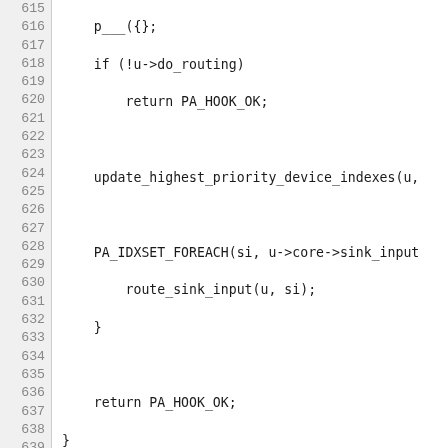[Figure (screenshot): Source code listing showing C code lines 615-644, with line numbers on the left in a gray sidebar and code on the right. Code includes routing logic with functions like route_sink_input, route_source_output, pa_assert, and various conditional checks.]